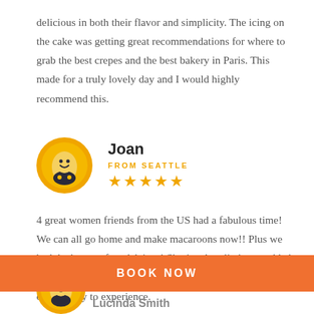delicious in both their flavor and simplicity. The icing on the cake was getting great recommendations for where to grab the best crepes and the best bakery in Paris. This made for a truly lovely day and I would highly recommend this.
[Figure (illustration): Circular avatar with orange background showing a cartoon egg/ghost character with a smiling face wearing a dark outfit]
Joan
FROM SEATTLE
[Figure (other): Five gold star rating icons]
4 great women friends from the US had a fabulous time! We can all go home and make macaroons now!! Plus we had the bonus of madeleines! Sharing Aurelio home added another element that we would not otherwise have had the opportunity to experience.
BOOK NOW
Lucinda Smith